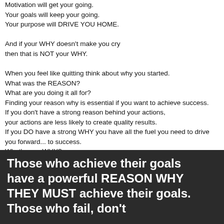Motivation will get your going.
Your goals will keep your going.
Your purpose will DRIVE YOU HOME.

And if your WHY doesn't make you cry
then that is NOT your WHY.

When you feel like quitting think about why you started.
What was the REASON?
What are you doing it all for?
Finding your reason why is essential if you want to achieve success.
If you don't have a strong reason behind your actions,
your actions are less likely to create quality results.
If you DO have a strong WHY you have all the fuel you need to
drive you forward... to success.
What's your WHY?
[Figure (illustration): Dark banner with white bold text reading: Those who achieve their goals have a powerful REASON WHY THEY MUST achieve their goals. Those who fail, don't]